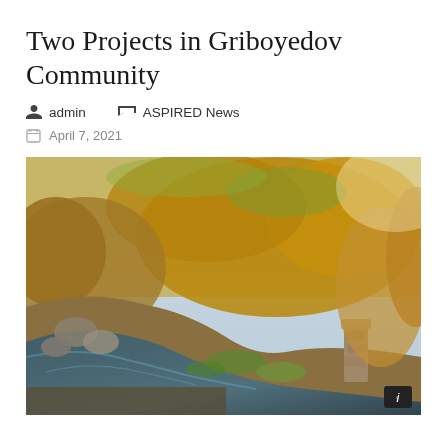Two Projects in Griboyedov Community
admin   ASPIRED News
April 7, 2021
[Figure (photo): Outdoor scene showing a small stream or waterway with dark still water, surrounded by dry golden-brown grasses and shrubs, some green vegetation near the water's edge, rocks visible, and a stone or concrete post on the right side.]